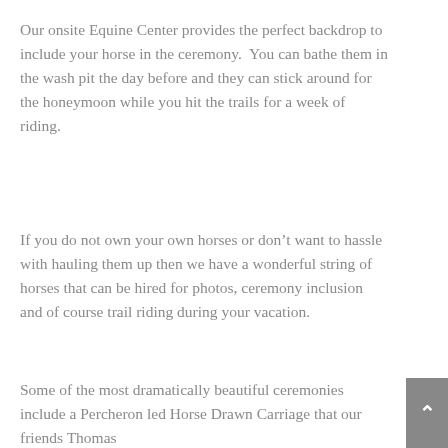Our onsite Equine Center provides the perfect backdrop to include your horse in the ceremony.  You can bathe them in the wash pit the day before and they can stick around for the honeymoon while you hit the trails for a week of riding.
If you do not own your own horses or don't want to hassle with hauling them up then we have a wonderful string of horses that can be hired for photos, ceremony inclusion and of course trail riding during your vacation.
Some of the most dramatically beautiful ceremonies include a Percheron led Horse Drawn Carriage that our friends Thomas